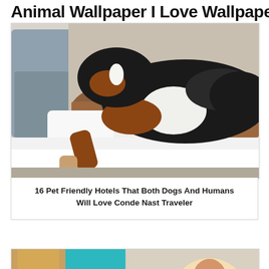Animal Wallpaper I Love Wallpaper
[Figure (photo): A large Bernese Mountain Dog lying on a white hotel bed with pillows, a blue-gray armchair visible in the background left, brown fur blanket on bed]
16 Pet Friendly Hotels That Both Dogs And Humans Will Love Conde Nast Traveler
[Figure (photo): A man in white shirt and teal pants sitting on a white sofa/bed in a hotel room with wood paneling, and a French Bulldog sitting on the floor looking up at camera]